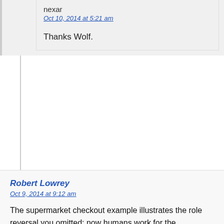nexar
Oct 10, 2014 at 5:21 am
Thanks Wolf.
Robert Lowrey
Oct 9, 2014 at 9:12 am
The supermarket checkout example illustrates the role reversal you omitted: now humans work for the machines, not the other way around, as it's now the customers who are forced to do the work of bagging and laying all their items on the scales/readers for the bots, the paid employees eliminated and the consumer doing their work. The bots are employed only to do the work the